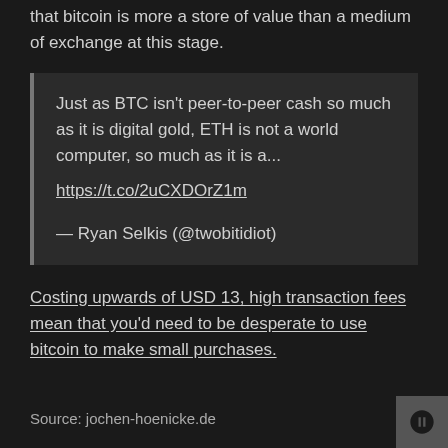provided yet more confirmation — if any were needed that bitcoin is more a store of value than a medium of exchange at this stage.
Just as BTC isn't peer-to-peer cash so much as it is digital gold, ETH is not a world computer, so much as it is a... https://t.co/2uCXDOrZ1m
— Ryan Selkis (@twobitidiot)
Costing upwards of USD 13, high transaction fees mean that you'd need to be desperate to use bitcoin to make small purchases.
Source: jochen-hoenicke.de